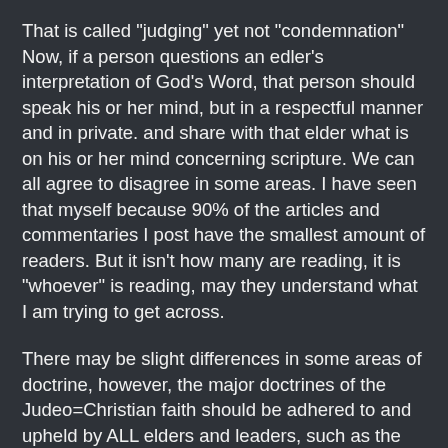That is called "judging" yet not "condemnation" Now, if a person questions an edler's interpretation of God's Word, that person should speak his or her mind, but in a respectful manner and in private. and share with that elder what is on his or her mind concerning scripture. We can all agree to disagree in some areas. I have seen that myself because 90% of the articles and commentaries I post have the smallest amount of readers. But it isn't how many are reading, it is "whoever" is reading, may they understand what I am trying to get across.
There may be slight differences in some areas of doctrine, however, the major doctrines of the Judeo=Christian faith should be adhered to and upheld by ALL elders and leaders, such as the "new birth" "salvation through faith, the inerrancy of Scripture, the unity of fellowship of ALL